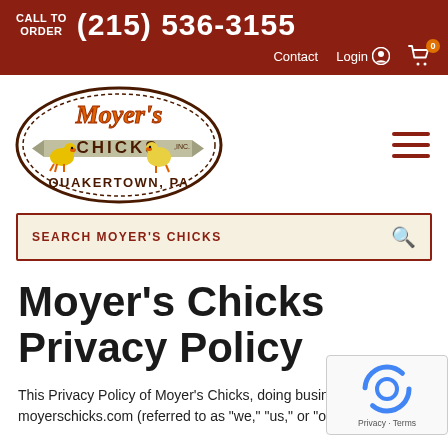CALL TO ORDER (215) 536-3155  Contact  Login  0
[Figure (logo): Moyer's Chicks Inc. logo — oval brown border with orange script 'Moyer's Chicks' above a banner, two cartoon chicks, and text 'Quakertown, PA' below]
SEARCH MOYER'S CHICKS
Moyer's Chicks Privacy Policy
This Privacy Policy of Moyer's Chicks, doing business as moyerschicks.com (referred to as "we," "us," or "our")